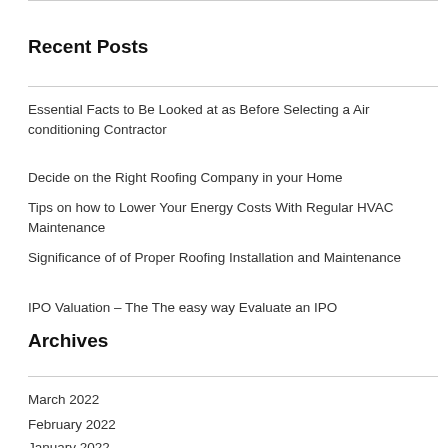Recent Posts
Essential Facts to Be Looked at as Before Selecting a Air conditioning Contractor
Decide on the Right Roofing Company in your Home
Tips on how to Lower Your Energy Costs With Regular HVAC Maintenance
Significance of of Proper Roofing Installation and Maintenance
IPO Valuation – The The easy way Evaluate an IPO
Archives
March 2022
February 2022
January 2022